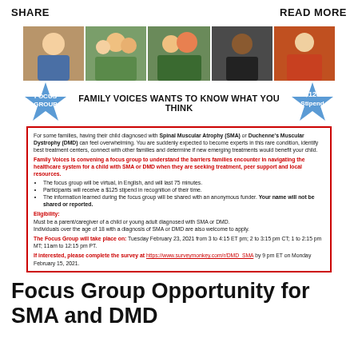SHARE    READ MORE
[Figure (photo): Strip of family photos showing diverse families and children]
FOCUS GROUP | FAMILY VOICES WANTS TO KNOW WHAT YOU THINK | $125 Stipend
For some families, having their child diagnosed with Spinal Muscular Atrophy (SMA) or Duchenne's Muscular Dystrophy (DMD) can feel overwhelming. You are suddenly expected to become experts in this rare condition, identify best treatment centers, connect with other families and determine if new emerging treatments would benefit your child.

Family Voices is convening a focus group to understand the barriers families encounter in navigating the healthcare system for a child with SMA or DMD when they are seeking treatment, peer support and local resources.
• The focus group will be virtual, in English, and will last 75 minutes.
• Participants will receive a $125 stipend in recognition of their time.
• The information learned during the focus group will be shared with an anonymous funder. Your name will not be shared or reported.

Eligibility:
Must be a parent/caregiver of a child or young adult diagnosed with SMA or DMD.
Individuals over the age of 18 with a diagnosis of SMA or DMD are also welcome to apply.

The Focus Group will take place on: Tuesday February 23, 2021 from 3 to 4:15 ET pm; 2 to 3:15 pm CT; 1 to 2:15 pm MT; 11am to 12:15 pm PT.

If interested, please complete the survey at https://www.surveymonkey.com/r/DMD_SMA by 9 pm ET on Monday February 15, 2021.
Focus Group Opportunity for SMA and DMD